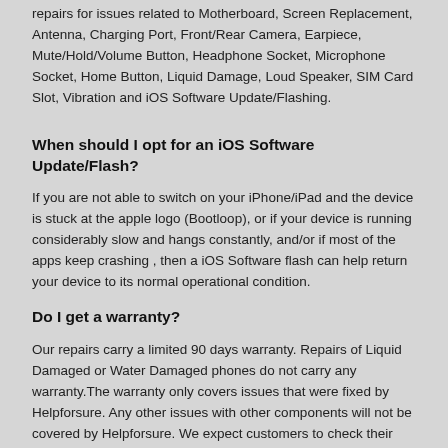repairs for issues related to Motherboard, Screen Replacement, Antenna, Charging Port, Front/Rear Camera, Earpiece, Mute/Hold/Volume Button, Headphone Socket, Microphone Socket, Home Button, Liquid Damage, Loud Speaker, SIM Card Slot, Vibration and iOS Software Update/Flashing.
When should I opt for an iOS Software Update/Flash?
If you are not able to switch on your iPhone/iPad and the device is stuck at the apple logo (Bootloop), or if your device is running considerably slow and hangs constantly, and/or if most of the apps keep crashing , then a iOS Software flash can help return your device to its normal operational condition.
Do I get a warranty?
Our repairs carry a limited 90 days warranty. Repairs of Liquid Damaged or Water Damaged phones do not carry any warranty.The warranty only covers issues that were fixed by Helpforsure. Any other issues with other components will not be covered by Helpforsure. We expect customers to check their phone throughly for any side issues at the time of delivery. Any